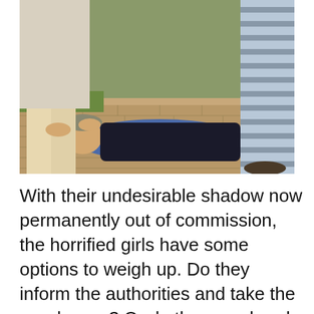[Figure (photo): Photograph showing a person lying on their back on the ground outdoors, with two other people visible from the waist down standing over them. The ground appears to have brick or paving stones and green grass. One person wears shorts and another wears a striped skirt or garment.]
With their undesirable shadow now permanently out of commission, the horrified girls have some options to weigh up. Do they inform the authorities and take the murder rap? Or do they go ahead with that one last hurrah and deal with the repercussions after the hangover wears off? I think we all know the answer to that conundrum. After opting for a watery burial in a shallow swimming pool on campus grounds, they attempt to refocus on their